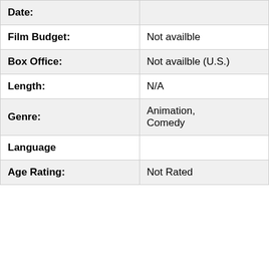| Field | Value |
| --- | --- |
| Date: |  |
| Film Budget: | Not availble |
| Box Office: | Not availble (U.S.) |
| Length: | N/A |
| Genre: | Animation, Comedy |
| Language |  |
| Age Rating: | Not Rated |